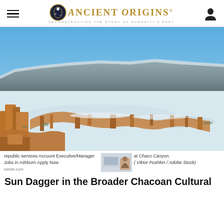Ancient Origins — Reconstructing the story of humanity's past
[Figure (photo): Aerial/ground-level winter view of ancient Chacoan ruins at Chaco Canyon with snow on the ground, blue sky, and mesa cliffs in the background. Adobe brick walls form curved and rectangular enclosures.]
republic services Account Executive/Manager Jobs in Ashburn Apply Now
iobble.com
at Chaco Canyon.
( Viktor Pushkin / Adobe Stock)
Sun Dagger in the Broader Chacoan Cultural